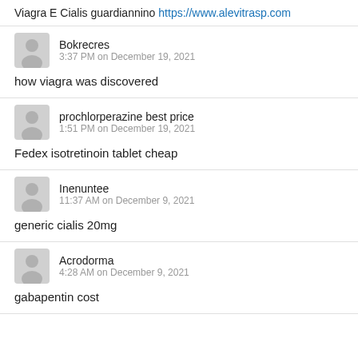Viagra E Cialis guardiannino https://www.alevitrasp.com
Bokrecres
3:37 PM on December 19, 2021
how viagra was discovered
prochlorperazine best price
1:51 PM on December 19, 2021
Fedex isotretinoin tablet cheap
Inenuntee
11:37 AM on December 9, 2021
generic cialis 20mg
Acrodorma
4:28 AM on December 9, 2021
gabapentin cost